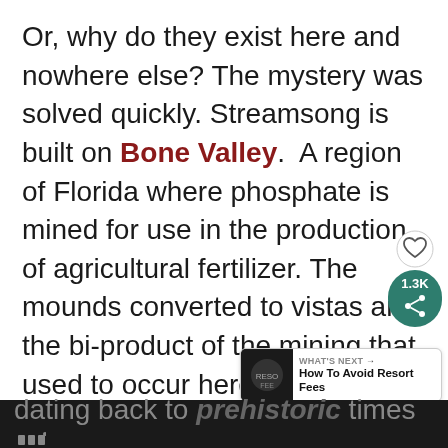Or, why do they exist here and nowhere else? The mystery was solved quickly. Streamsong is built on Bone Valley.  A region of Florida where phosphate is mined for use in the production of agricultural fertilizer. The mounds converted to vistas are the bi-product of the mining that used to occur here. Perhaps more fascinating. Bone Valley is home to many fossils
[Figure (screenshot): Social media widget showing heart/like icon and share button with count 1.3K, plus a 'What's Next' recommendation banner showing 'How To Avoid Resort Fees']
dating back to prehistoric times